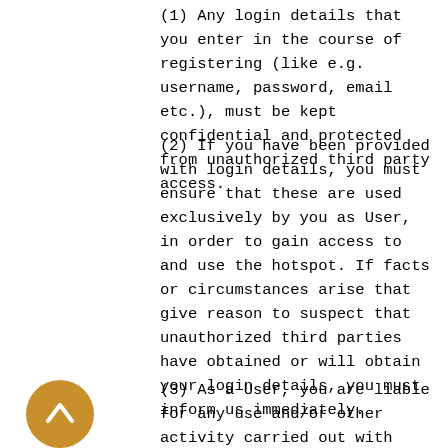(1) Any login details that you enter in the course of registering (like e.g. username, password, email etc.), must be kept confidential and protected from unauthorized third party access.
(2) If you have been provided with login details, you must ensure that these are used exclusively by you as User, in order to gain access to and use the hotspot. If facts or circumstances arise that give reason to suspect that unauthorized third parties have obtained or will obtain your login details, you must inform us immediately.
(3) As a User, you are liable for any use and/or other activity carried out with your login details, according to statutory